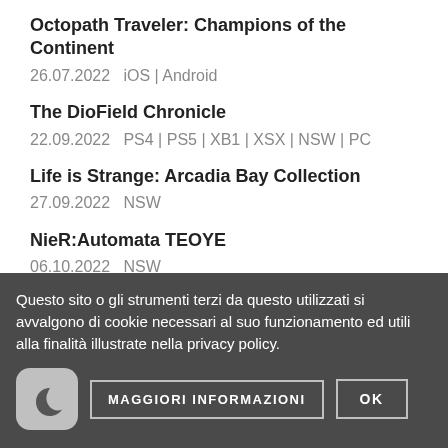Octopath Traveler: Champions of the Continent
26.07.2022  iOS | Android
The DioField Chronicle
22.09.2022  PS4 | PS5 | XB1 | XSX | NSW | PC
Life is Strange: Arcadia Bay Collection
27.09.2022  NSW
NieR:Automata TEOYE
06.10.2022  NSW
Valkyrie Elysium
29.09.2022  PS4 | PS5
Questo sito o gli strumenti terzi da questo utilizzati si avvalgono di cookie necessari al suo funzionamento ed utili alla finalità illustrate nella privacy policy.
MAGGIORI INFORMAZIONI  OK